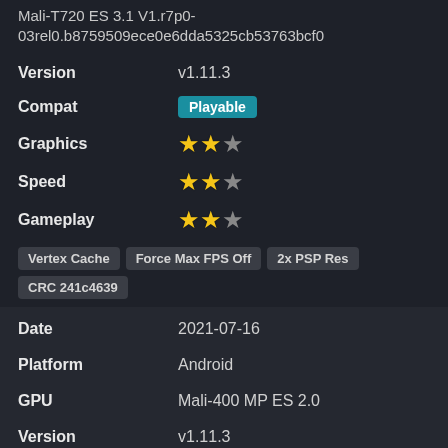Mali-T720 ES 3.1 V1.r7p0-03rel0.b8759509ece0e6dda5325cb53763bcf0
Version: v1.11.3
Compat: Playable
Graphics: 2/3 stars
Speed: 2/3 stars
Gameplay: 2/3 stars
Tags: Vertex Cache, Force Max FPS Off, 2x PSP Res, CRC 241c4639
Date: 2021-07-16
Platform: Android
GPU: Mali-400 MP ES 2.0
Version: v1.11.3